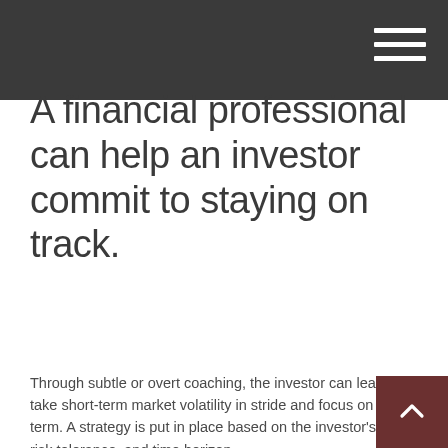A financial professional can help an investor commit to staying on track.
Through subtle or overt coaching, the investor can learn to take short-term market volatility in stride and focus on the long term. A strategy is put in place based on the investor's goals, risk tolerance, and time horizon.
As the investor-professional relationship unfolds, the investor begins to notice the intangible ways the professional provides value. The professional may help explain the subtleties of investment trends and how potential risk often relates to potential reward.
Perhaps most importantly, the professional helps the client get past the "noise" and "buzz" of the financial markets to see what is really